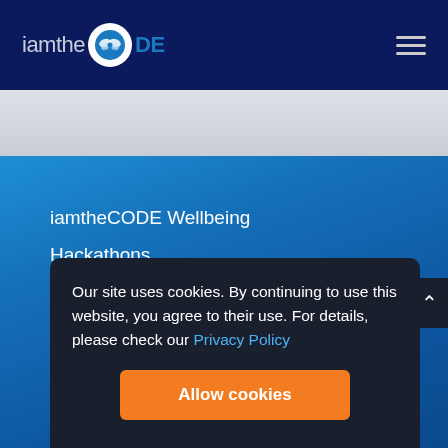iamtheCODE
iamtheCODE Wellbeing
Hackathons
Digital Clubs
Our site uses cookies. By continuing to use this website, you agree to their use. For details, please check our Privacy Policy
Allow cookies